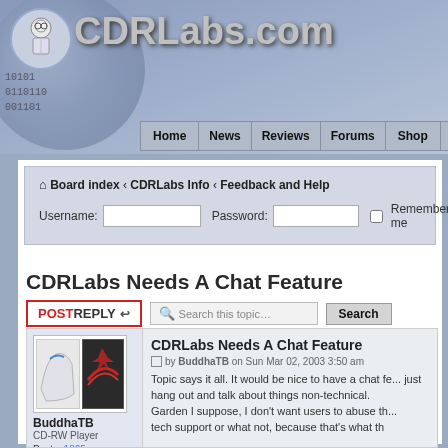[Figure (screenshot): CDRLabs.com website header with logo showing a scientist icon and site name in large grey text, with a blue gradient background and binary numbers on the left side]
Home | News | Reviews | Forums | Shop | Contact Us
Board index < CDRLabs Info < Feedback and Help
Username: [input] Password: [input] Remember me [checkbox] [Login button]
CDRLabs Needs A Chat Feature
POST REPLY [icon]   Search this topic...  Search
CDRLabs Needs A Chat Feature
by BuddhaTB on Sun Mar 02, 2003 3:50 am
BuddhaTB
CD-RW Player
Posts: 1865
Topic says it all. It would be nice to have a chat feature so people can just hang out and talk about things non-technical. Like a Beer Garden I suppose, I don't want users to abuse the room for tech support or what not, because that's what th